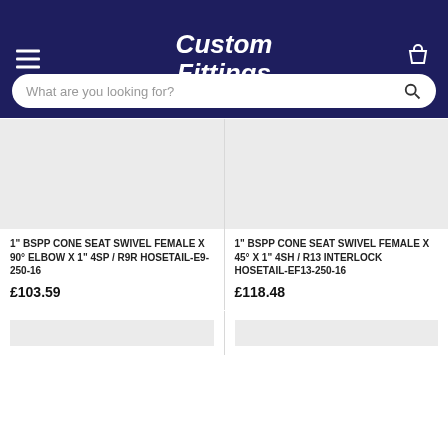Custom Fittings
What are you looking for?
[Figure (photo): Product image placeholder (grey box) for 1" BSPP CONE SEAT SWIVEL FEMALE x 90° ELBOW x 1" 4SP / R9R HOSETAIL-E9-250-16]
1" BSPP CONE SEAT SWIVEL FEMALE x 90° ELBOW x 1" 4SP / R9R HOSETAIL-E9-250-16
£103.59
[Figure (photo): Product image placeholder (grey box) for 1" BSPP CONE SEAT SWIVEL FEMALE x 45° x 1" 4SH / R13 INTERLOCK HOSETAIL-EF13-250-16]
1" BSPP CONE SEAT SWIVEL FEMALE x 45° x 1" 4SH / R13 INTERLOCK HOSETAIL-EF13-250-16
£118.48